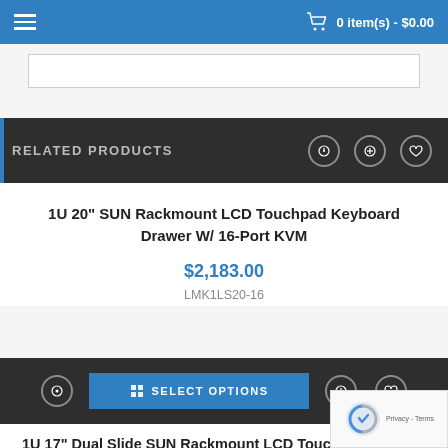0 item(s) - $0.00
RELATED PRODUCTS
1U 20" SUN Rackmount LCD Touchpad Keyboard Drawer W/ 16-Port KVM
$2,183.00
LMK1LS20-16
SELECT OPTIONS
1U 17" Dual Slide SUN Rackmount LCD Touchpad Keyboard Drawer W/ 16-Port 2 Consoles (1 X Loc…
$1,955.00
LMK1DS17-KS51600